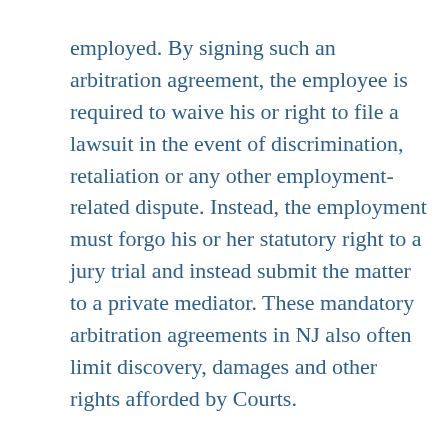employed. By signing such an arbitration agreement, the employee is required to waive his or right to file a lawsuit in the event of discrimination, retaliation or any other employment-related dispute. Instead, the employment must forgo his or her statutory right to a jury trial and instead submit the matter to a private mediator. These mandatory arbitration agreements in NJ also often limit discovery, damages and other rights afforded by Courts.
Even more unfortunately, these agreements are often enforced by the Courts. While Courts are required to liberally read arbitration agreements in favor of arbitration, there are limits to that favoritism. In order to enforce such a waiver, the arbitration agreement must be a knowing and